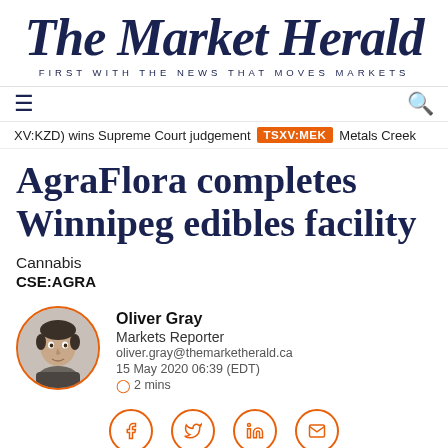The Market Herald — FIRST WITH THE NEWS THAT MOVES MARKETS
≡  🔍
XV:KZD) wins Supreme Court judgement  TSXV:MEK  Metals Creek
AgraFlora completes Winnipeg edibles facility
Cannabis
CSE:AGRA
Oliver Gray
Markets Reporter
oliver.gray@themarketherald.ca
15 May 2020 06:39 (EDT)
⊙ 2 mins